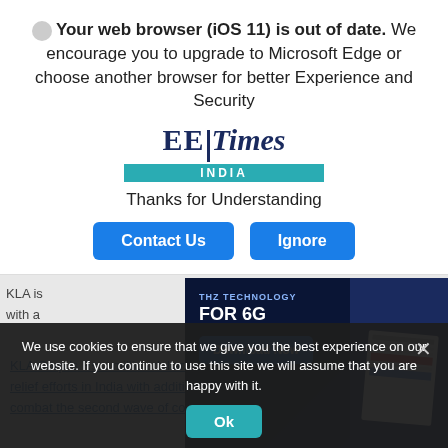Your web browser (iOS 11) is out of date. We encourage you to upgrade to Microsoft Edge or choose another browser for better Experience and Security
[Figure (logo): EE Times INDIA logo — serif bold blue letters with teal INDIA bar]
Thanks for Understanding
Contact Us | Ignore (buttons)
[Figure (screenshot): Dark blue advertisement banner: THZ TECHNOLOGY FOR 6G with Download Now button and document thumbnail]
KLA is ... India with a ... second ... axing the co...
We use cookies to ensure that we give you the best experience on our website. If you continue to use this site we will assume that you are happy with it.
Ok
KLA Corp.'s Rs... million million dollar humanitarian relief efforts in India with addition of $550,000 to combat the second wave of coronavirus infections